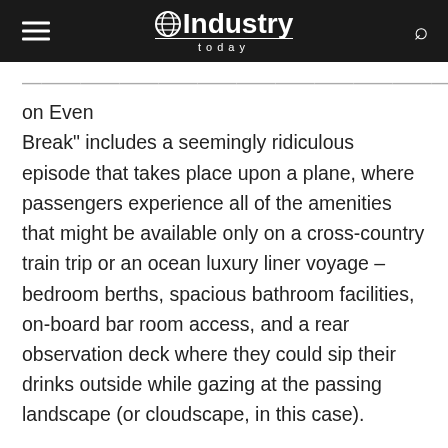Industry Today
Break" includes a seemingly ridiculous episode that takes place upon a plane, where passengers experience all of the amenities that might be available only on a cross-country train trip or an ocean luxury liner voyage – bedroom berths, spacious bathroom facilities, on-board bar room access, and a rear observation deck where they could sip their drinks outside while gazing at the passing landscape (or cloudscape, in this case).
Thanks to Airbus, a European aircraft manufacturer, the concept no longer seems so comically ludicrous. True, that observation deck idea will never fly; passengers would be swept off the back of the airplane. But everything else has pretty much come true.